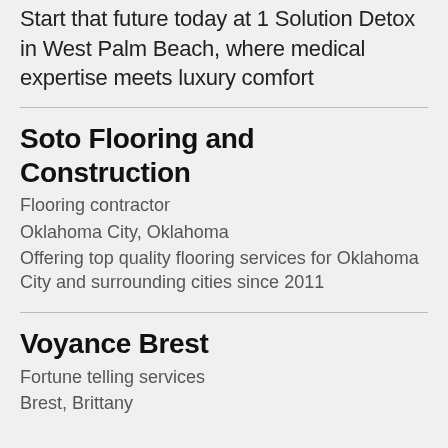Start that future today at 1 Solution Detox in West Palm Beach, where medical expertise meets luxury comfort
Soto Flooring and Construction
Flooring contractor
Oklahoma City, Oklahoma
Offering top quality flooring services for Oklahoma City and surrounding cities since 2011
Voyance Brest
Fortune telling services
Brest, Brittany